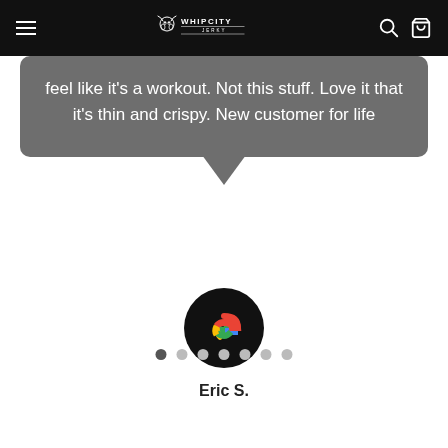Whip City Jerky
feel like it's a workout. Not this stuff. Love it that it's thin and crispy. New customer for life
[Figure (logo): Google 'G' logo in a black circle]
Eric S.